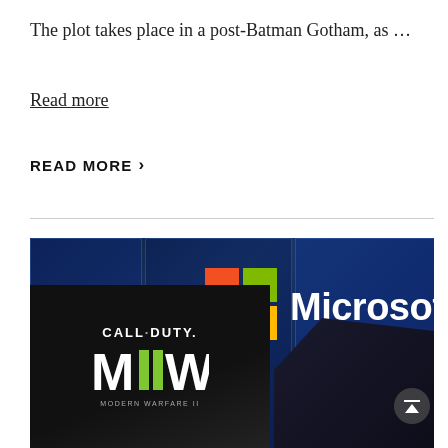The plot takes place in a post-Batman Gotham, as …
Read more
READ MORE ›
[Figure (photo): Photo showing a Microsoft store front with the four-color Microsoft logo and 'Microsoft' text in white, alongside a Call of Duty: Modern Warfare II game case in the foreground, and a character figure on the left side. A scroll-to-top button is visible in the lower right.]